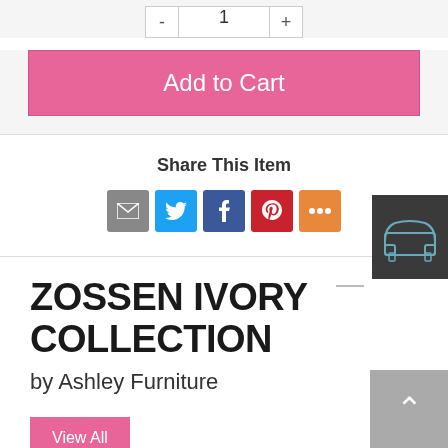[Figure (other): Quantity selector with minus button, input showing '1', and plus button]
Add to Cart
Share This Item
[Figure (other): Social share icons: email (grey), Twitter (blue), Facebook (blue), Pinterest (red), More (orange)]
[Figure (illustration): Dark grey thumbnail image of a sofa/armchair in outline style]
ZOSSEN IVORY COLLECTION
by Ashley Furniture
View All
[Figure (other): Back to top button with upward arrow chevron]